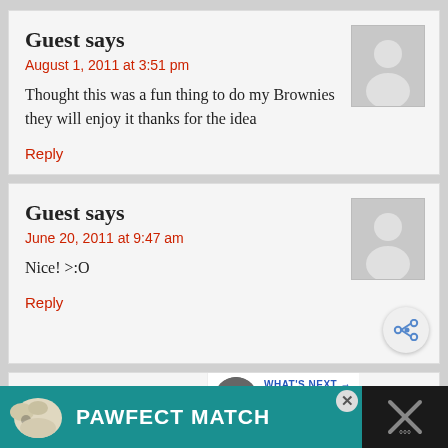Guest says
August 1, 2011 at 3:51 pm
Thought this was a fun thing to do my Brownies they will enjoy it thanks for the idea
Reply
Guest says
June 20, 2011 at 9:47 am
Nice! >:O
Reply
Guest says
June 18, 2011 at 7:58 pm
WHAT'S NEXT → Halloween Coat Hanger...
PAWFECT MATCH